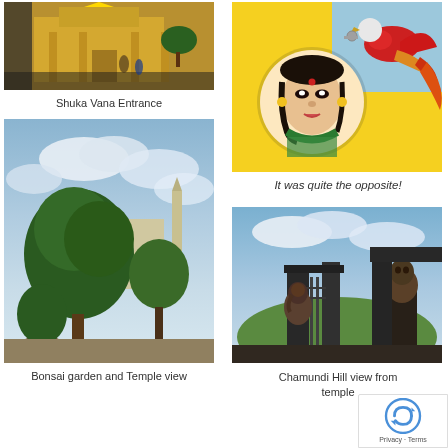[Figure (photo): View of Shuka Vana temple entrance from inside a car, showing a golden-ornate temple building with people outside]
Shuka Vana Entrance
[Figure (photo): Colorful Indian folk art painting depicting a woman's portrait in a circle with a red parrot carrying keys, on yellow background]
It was quite the opposite!
[Figure (photo): Bonsai garden with large trees and a Buddha/temple statue visible in the background under cloudy sky]
Bonsai garden and Temple view
[Figure (photo): Chamundi Hill temple entrance gate with dark metal statues of Ganesha and Hanuman, blue sky with clouds visible]
Chamundi Hill view from temple